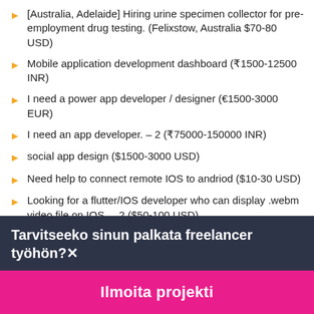[Australia, Adelaide] Hiring urine specimen collector for pre-employment drug testing. (Felixstow, Australia $70-80 USD)
Mobile application development dashboard (₹1500-12500 INR)
I need a power app developer / designer (€1500-3000 EUR)
I need an app developer. – 2 (₹75000-150000 INR)
social app design ($1500-3000 USD)
Need help to connect remote IOS to andriod ($10-30 USD)
Looking for a flutter/IOS developer who can display .webm video file on IOS. – 2 ($50-100 USD)
Tarvitseeko sinun palkata freelancer työhön?
Ilmoita projekti